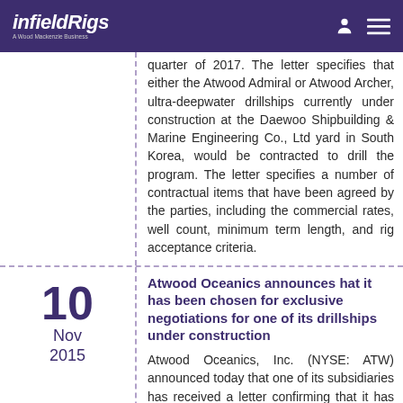infieldRigs — A Wood Mackenzie Business
quarter of 2017. The letter specifies that either the Atwood Admiral or Atwood Archer, ultra-deepwater drillships currently under construction at the Daewoo Shipbuilding & Marine Engineering Co., Ltd yard in South Korea, would be contracted to drill the program. The letter specifies a number of contractual items that have been agreed by the parties, including the commercial rates, well count, minimum term length, and rig acceptance criteria.
Atwood Oceanics announces hat it has been chosen for exclusive negotiations for one of its drillships under construction
Atwood Oceanics, Inc. (NYSE: ATW) announced today that one of its subsidiaries has received a letter confirming that it has been chosen to enter exclusive negotiations with an undisclosed operator to conclude agreement on a drilling program offshore Brazil commencing in the third quarter of 2017. The letter specifies that either the